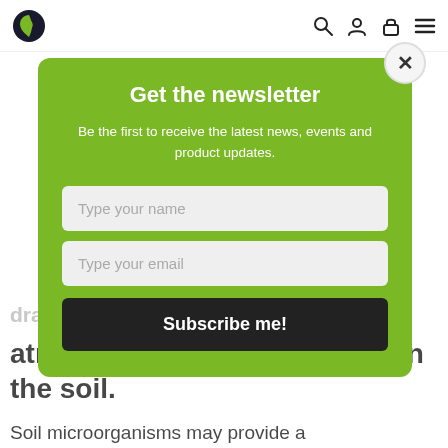Navigation bar with logo and icons
draw carbon out of the atmosphere and sequester it in the soil.
Soil microorganisms may provide a
Get the newsletter
Be the first to receive the latest news, events and product updates.
Type your name
Type your email
Subscribe me!